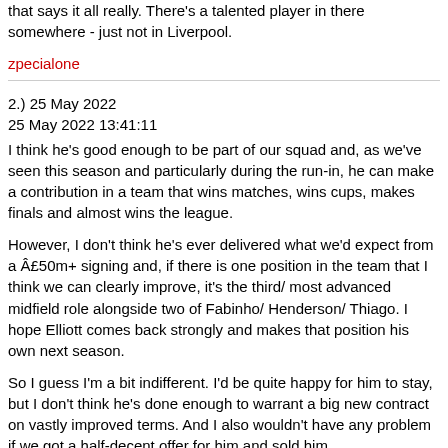that says it all really. There's a talented player in there somewhere - just not in Liverpool.
zpecialone
2.) 25 May 2022
25 May 2022 13:41:11
I think he's good enough to be part of our squad and, as we've seen this season and particularly during the run-in, he can make a contribution in a team that wins matches, wins cups, makes finals and almost wins the league.
However, I don't think he's ever delivered what we'd expect from a £50m+ signing and, if there is one position in the team that I think we can clearly improve, it's the third/ most advanced midfield role alongside two of Fabinho/ Henderson/ Thiago. I hope Elliott comes back strongly and makes that position his own next season.
So I guess I'm a bit indifferent. I'd be quite happy for him to stay, but I don't think he's done enough to warrant a big new contract on vastly improved terms. And I also wouldn't have any problem if we got a half-decent offer for him and sold him.
RR